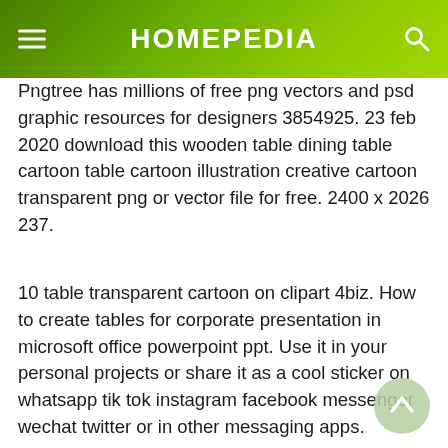HOMEPEDIA
Pngtree has millions of free png vectors and psd graphic resources for designers 3854925. 23 feb 2020 download this wooden table dining table cartoon table cartoon illustration creative cartoon transparent png or vector file for free. 2400 x 2026 237.
10 table transparent cartoon on clipart 4biz. How to create tables for corporate presentation in microsoft office powerpoint ppt. Use it in your personal projects or share it as a cool sticker on whatsapp tik tok instagram facebook messenger wechat twitter or in other messaging apps.